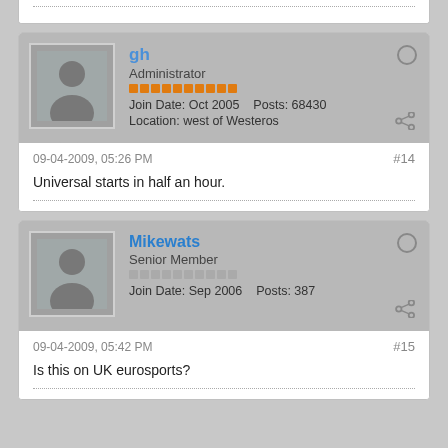09-04-2009, 05:26 PM
#14
Universal starts in half an hour.
gh
Administrator
Join Date: Oct 2005    Posts: 68430
Location: west of Westeros
09-04-2009, 05:42 PM
#15
Mikewats
Senior Member
Join Date: Sep 2006    Posts: 387
Is this on UK eurosports?